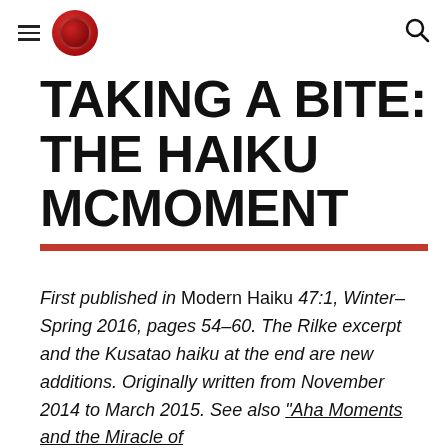[hamburger menu] [logo] [search icon]
TAKING A BITE: THE HAIKU MCMOMENT
First published in Modern Haiku 47:1, Winter–Spring 2016, pages 54–60. The Rilke excerpt and the Kusatao haiku at the end are new additions. Originally written from November 2014 to March 2015. See also "Aha Moments and the Miracle of